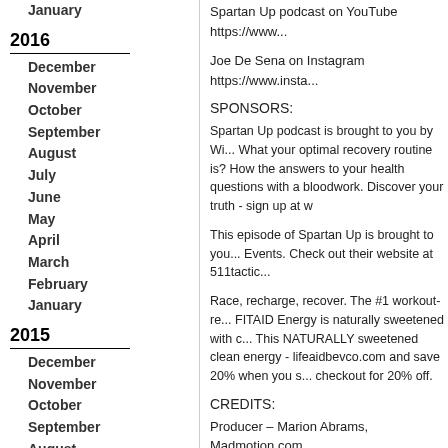January
2016
December
November
October
September
August
July
June
May
April
March
February
January
2015
December
November
October
September
August
July
June
May
April
March
February
January
2014
December
Spartan Up podcast on YouTube https://www...
Joe De Sena on Instagram https://www.insta...
SPONSORS:
Spartan Up podcast is brought to you by Wi... What your optimal recovery routine is? How the answers to your health questions with a bloodwork. Discover your truth - sign up at w
This episode of Spartan Up is brought to you... Events. Check out their website at 511tactic...
Race, recharge, recover. The #1 workout-re... FITAID Energy is naturally sweetened with c... This NATURALLY sweetened clean energy - lifeaidbevco.com and save 20% when you s... checkout for 20% off.
CREDITS:
Producer – Marion Abrams, Madmotion.com
Host: Joe De Sena
© 2022 Spartan
Direct download: 429_Kien_Vuu_Interview_Assemb... Category: general -- posted at: 4:12am EDT